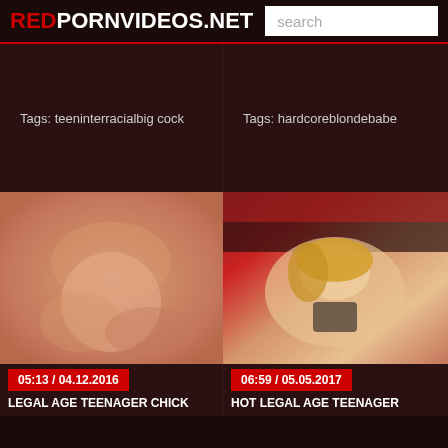REDPORNVIDEOS.NET | search
Tags: teeninterracialbig cock
Tags: hardcoreblondebabe
[Figure (photo): Close-up skin-tone adult content thumbnail]
05:13 / 04.12.2016
LEGAL AGE TEENAGER CHICK
[Figure (photo): Blonde woman adult content thumbnail]
06:59 / 05.05.2017
HOT LEGAL AGE TEENAGER